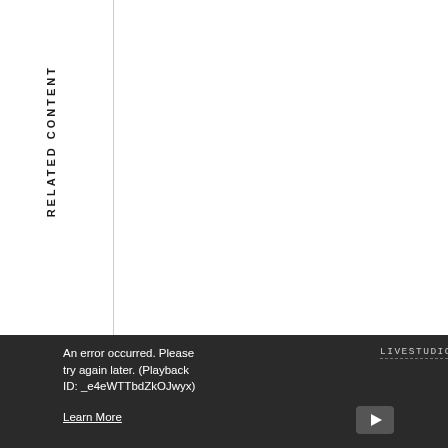RELATED CONTENT
An error occurred. Please try again later. (Playback ID: _e4eWTTbdZkOJwyx) Learn More
LIVESTUDIO: PIERS A...